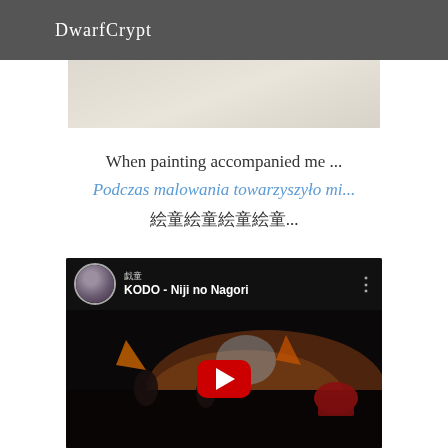DwarfCrypt
[Figure (photo): Partial view of a light-colored textured painting or canvas surface]
When painting accompanied me ...
Podczas malowania towarzyszyło mi...
絵童絵童絵童絵童...
[Figure (screenshot): YouTube video embed showing KODO - Niji no Nagori, with channel avatar, video title, three-dot menu, and a red play button over a dark scene of performers]